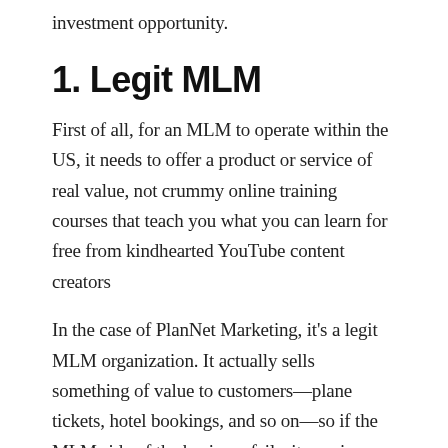investment opportunity.
1. Legit MLM
First of all, for an MLM to operate within the US, it needs to offer a product or service of real value, not crummy online training courses that teach you what you can learn for free from kindhearted YouTube content creators
In the case of PlanNet Marketing, it's a legit MLM organization. It actually sells something of value to customers—plane tickets, hotel bookings, and so on—so if the MLM side of the business fails, its paying members can always